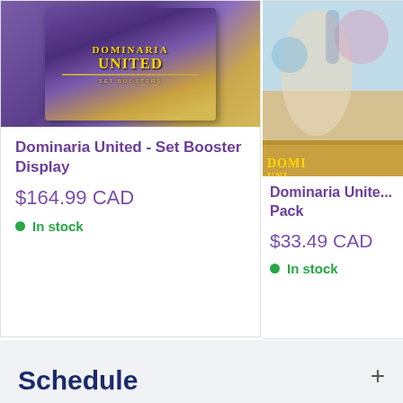[Figure (photo): Dominaria United Set Booster Display box product image with purple and gold packaging]
Dominaria United - Set Booster Display
$164.99 CAD
In stock
[Figure (photo): Dominaria United Art Pack product image, partially cropped, with colourful art on packaging]
Dominaria Unite... Pack
$33.49 CAD
In stock
Schedule